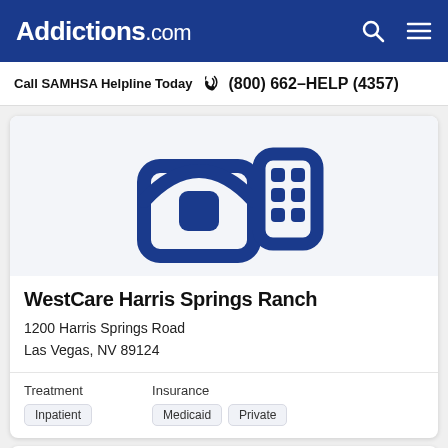Addictions.com
Call SAMHSA Helpline Today  (800) 662-HELP (4357)
[Figure (logo): Blue building/house icon on light grey background representing a treatment facility]
WestCare Harris Springs Ranch
1200 Harris Springs Road
Las Vegas, NV 89124
Treatment
Inpatient
Insurance
Medicaid  Private